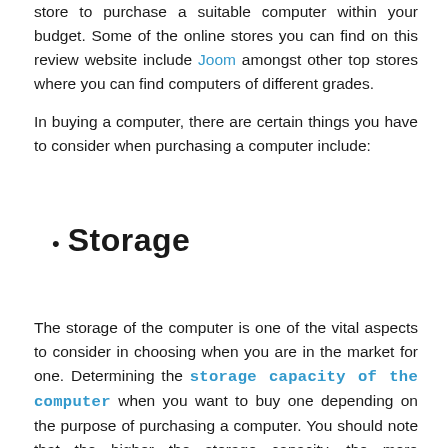store to purchase a suitable computer within your budget. Some of the online stores you can find on this review website include Joom amongst other top stores where you can find computers of different grades.
In buying a computer, there are certain things you have to consider when purchasing a computer include:
Storage
The storage of the computer is one of the vital aspects to consider in choosing when you are in the market for one. Determining the storage capacity of the computer when you want to buy one depending on the purpose of purchasing a computer. You should note that the higher the storage capacity, the more expensive the laptop. So you should